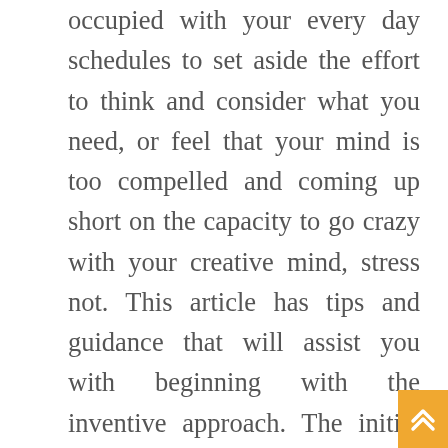occupied with your every day schedules to set aside the effort to think and consider what you need, or feel that your mind is too compelled and coming up short on the capacity to go crazy with your creative mind, stress not. This article has tips and guidance that will assist you with beginning with the inventive approach. The initial move towards innovative reasoning is downplaying how the psyche functions and how to animate your cerebrum. I will dive profound into this theme, since we may require a few book to cover it, however I will momentarily make Roman Sledziejowski reference to the key components. The mind has two fundamental parts; the right and the left